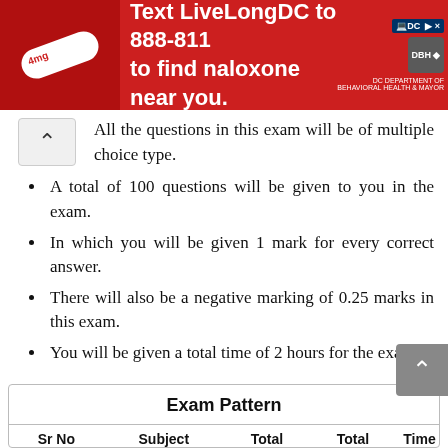[Figure (other): Red advertisement banner: Text LiveLongDC to 888-811 to find naloxone near you, with DC government logos]
All the questions in this exam will be of multiple choice type.
A total of 100 questions will be given to you in the exam.
In which you will be given 1 mark for every correct answer.
There will also be a negative marking of 0.25 marks in this exam.
You will be given a total time of 2 hours for the exam.
| Sr No | Subject | Total | Total | Time |
| --- | --- | --- | --- | --- |